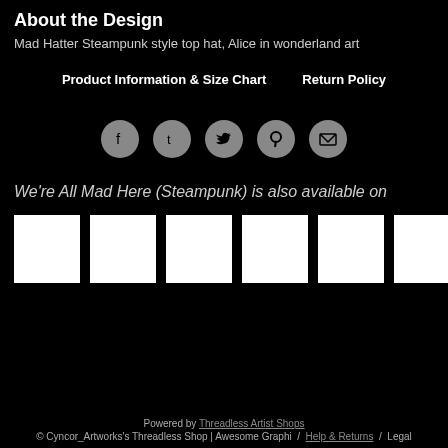About the Design
Mad Hatter Steampunk style top hat, Alice in wonderland art
Product Information & Size Chart    Return Policy
[Figure (infographic): Row of five circular social media share icons: Facebook, Tumblr, Twitter, Pinterest, Email]
We're All Mad Here (Steampunk) is also available on
[Figure (photo): Six white product thumbnail images in a row]
Powered by Threadless Artist Shops
© Cyncor_Artworks's Threadless Shop | Awesome Graphi / Help & Returns / Legal